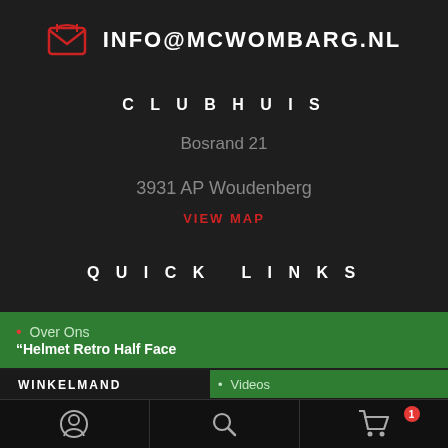INFO@MCWOMBARG.NL
CLUBHUIS
Bosrand 21
3931 AP Woudenberg
VIEW MAP
QUICK LINKS
Over Ons
"Helmet Retro Half Face
WINKELMAND
Videos
[Figure (screenshot): Bottom navigation bar with user account icon, search icon, and shopping cart icon with badge showing 1 item]